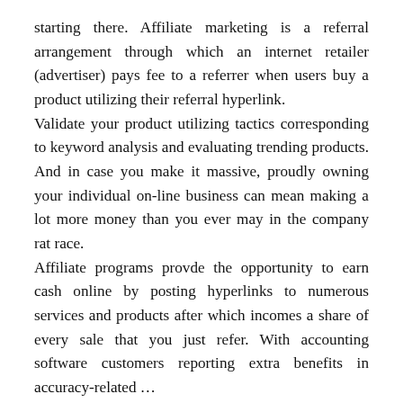starting there. Affiliate marketing is a referral arrangement through which an internet retailer (advertiser) pays fee to a referrer when users buy a product utilizing their referral hyperlink. Validate your product utilizing tactics corresponding to keyword analysis and evaluating trending products. And in case you make it massive, proudly owning your individual on-line business can mean making a lot more money than you ever may in the company rat race. Affiliate programs provde the opportunity to earn cash online by posting hyperlinks to numerous services and products after which incomes a share of every sale that you just refer. With accounting software customers reporting extra benefits in accuracy-related …